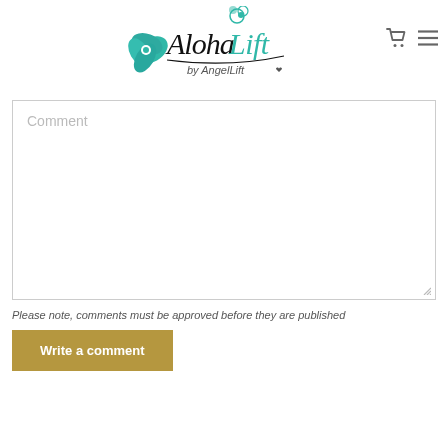[Figure (logo): Aloha Lift by AngelLift logo with teal hibiscus flower and cursive script text]
Comment
Please note, comments must be approved before they are published
Write a comment